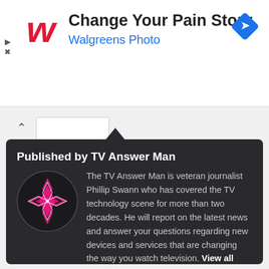[Figure (illustration): Walgreens red W logo and blue diamond navigation icon, advertisement banner reading 'Change Your Pain Story' with subtitle 'Walgreens Photo']
Change Your Pain Story
Walgreens Photo
[Figure (illustration): Pink/magenta geometric diamond pattern avatar in a circle for TV Answer Man author]
Published by TV Answer Man
The TV Answer Man is veteran journalist Phillip Swann who has covered the TV technology scene for more than two decades. He will report on the latest news and answer your questions regarding new devices and services that are changing the way you watch television. View all posts by TV Answer Man